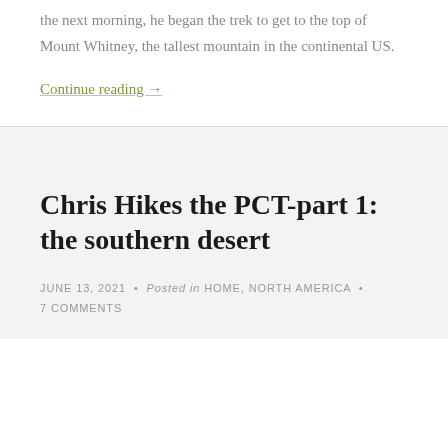the next morning, he began the trek to get to the top of Mount Whitney, the tallest mountain in the continental US.
Continue reading →
Chris Hikes the PCT-part 1: the southern desert
JUNE 13, 2021 • Posted in HOME, NORTH AMERICA • 7 COMMENTS